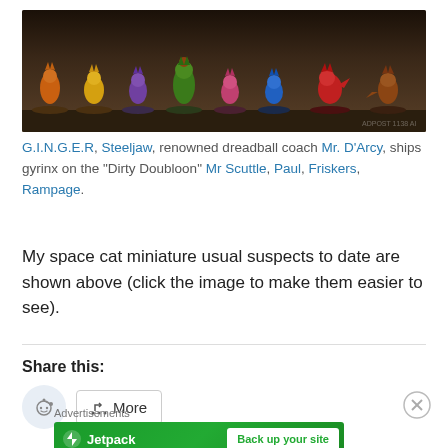[Figure (photo): A row of colorful space cat miniature figurines on dark bases, photographed against a dark background. Cats include orange, yellow, purple, green/dinosaur, pink, blue, red/dragon, and brown colored figures.]
G.I.N.G.E.R, Steeljaw, renowned dreadball coach Mr. D'Arcy, ships gyrinx on the "Dirty Doubloon" Mr Scuttle, Paul, Friskers, Rampage.
My space cat miniature usual suspects to date are shown above (click the image to make them easier to see).
Share this:
[Figure (screenshot): Share buttons: Reddit icon button and a More button with share icon. Also a close (X) button on the right.]
Advertisements
[Figure (screenshot): Jetpack advertisement banner: green background with Jetpack logo on left and 'Back up your site' button on right.]